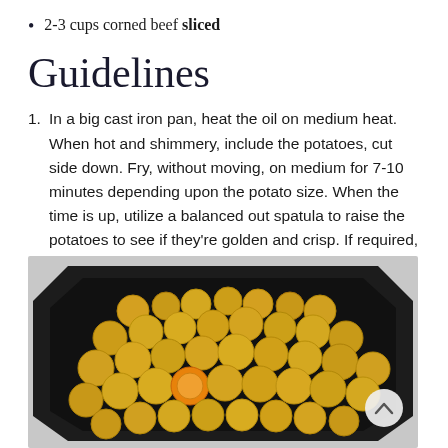2-3 cups corned beef sliced
Guidelines
In a big cast iron pan, heat the oil on medium heat. When hot and shimmery, include the potatoes, cut side down. Fry, without moving, on medium for 7-10 minutes depending upon the potato size. When the time is up, utilize a balanced out spatula to raise the potatoes to see if they're golden and crisp. If required, include 1-2 minutes cooking time.
[Figure (photo): Overhead view of small yellow/gold potatoes arranged in a black cast iron skillet, photographed from above on a light gray surface.]